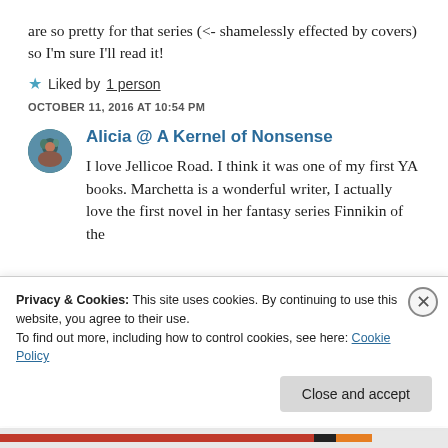are so pretty for that series (<- shamelessly effected by covers) so I'm sure I'll read it!
Liked by 1 person
OCTOBER 11, 2016 AT 10:54 PM
Alicia @ A Kernel of Nonsense
I love Jellicoe Road. I think it was one of my first YA books. Marchetta is a wonderful writer, I actually love the first novel in her fantasy series Finnikin of the
Privacy & Cookies: This site uses cookies. By continuing to use this website, you agree to their use.
To find out more, including how to control cookies, see here: Cookie Policy